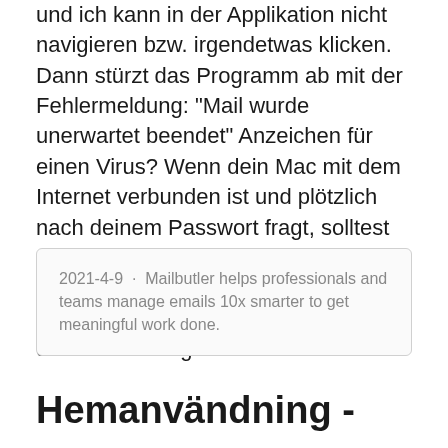und ich kann in der Applikation nicht navigieren bzw. irgendetwas klicken. Dann stürzt das Programm ab mit der Fehlermeldung: "Mail wurde unerwartet beendet" Anzeichen für einen Virus? Wenn dein Mac mit dem Internet verbunden ist und plötzlich nach deinem Passwort fragt, solltest du es in der Regel später noch einmal versuchen und bei Bedarf mit deinem E-Mail-Anbieter zusammenarbeiten, um eine Lösung zu finden.
2021-4-9 · Mailbutler helps professionals and teams manage emails 10x smarter to get meaningful work done.
Hemanvändning -